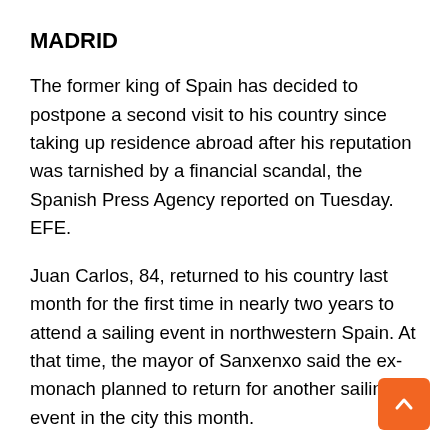MADRID
The former king of Spain has decided to postpone a second visit to his country since taking up residence abroad after his reputation was tarnished by a financial scandal, the Spanish Press Agency reported on Tuesday. EFE.
Juan Carlos, 84, returned to his country last month for the first time in nearly two years to attend a sailing event in northwestern Spain. At that time, the mayor of Sanxenxo said the ex-monach planned to return for another sailing event in the city this month.
But according to EFE and other Spanish media,